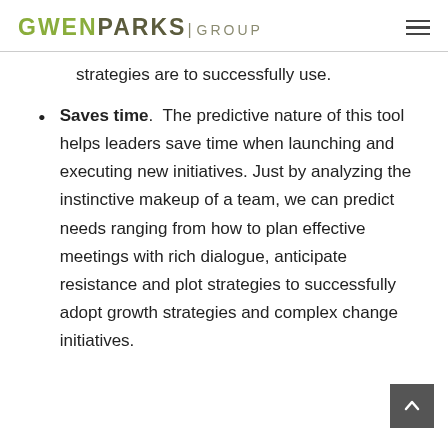GWEN PARKS | GROUP
strategies are to successfully use.
Saves time.  The predictive nature of this tool helps leaders save time when launching and executing new initiatives. Just by analyzing the instinctive makeup of a team, we can predict needs ranging from how to plan effective meetings with rich dialogue, anticipate resistance and plot strategies to successfully adopt growth strategies and complex change initiatives.